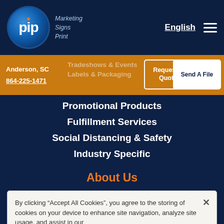PIP Marketing Signs Print | English | Menu
Anderson, SC
864-225-1471
Tradeshows & Events
Labels & Packaging
Request a Quote
Send A File
Promotional Products
Fulfillment Services
Social Distancing & Safety
Industry Specific
About Us
By clicking “Accept All Cookies”, you agree to the storing of cookies on your device to enhance site navigation, analyze site usage, and assist in our